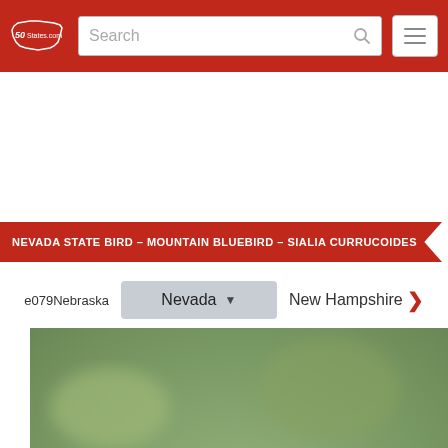50States.com
NEVADA STATE BIRD – MOUNTAIN BLUEBIRD – SIALIA CURRUCOIDES
e079Nebraska   Nevada   New Hampshire
[Figure (photo): Mountain Bluebird (Sialia currucoides) perched, showing vivid blue plumage on head, wings and back, with lighter blue-white underparts, against a blurred green background. Watermark: f106]